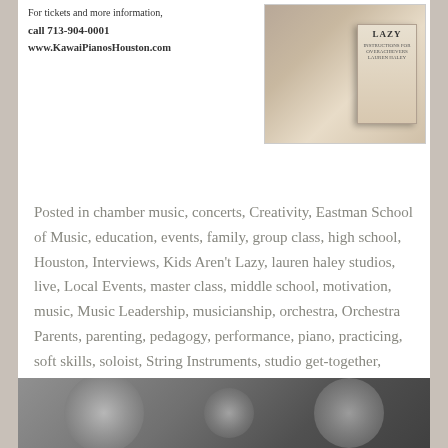For tickets and more information, call 713-904-0001
www.KawaiPianosHouston.com
[Figure (photo): A book with the title 'LAZY' visible on the cover, placed on a wooden surface with other books stacked nearby]
Posted in chamber music, concerts, Creativity, Eastman School of Music, education, events, family, group class, high school, Houston, Interviews, Kids Aren't Lazy, lauren haley studios, live, Local Events, master class, middle school, motivation, music, Music Leadership, musicianship, orchestra, Orchestra Parents, parenting, pedagogy, performance, piano, practicing, soft skills, soloist, String Instruments, studio get-together, Talent, technique, viola, Viola Performance, violin, Violin and Viola Performance, violin performance, violinist, voice
[Figure (photo): Black and white photo showing blurred figures, likely musicians or students]